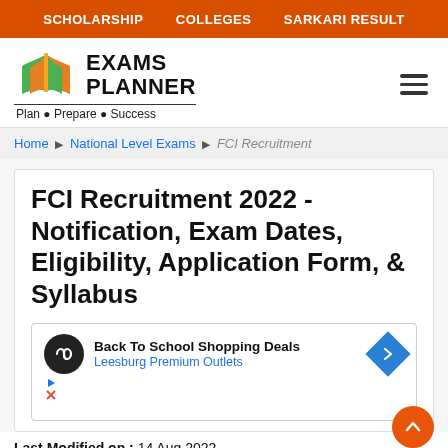SCHOLARSHIP   COLLEGES   SARKARI RESULT
[Figure (logo): Exams Planner logo with open book icon and tagline Plan • Prepare • Success]
Home ▶ National Level Exams ▶ FCI Recruitment
FCI Recruitment 2022 - Notification, Exam Dates, Eligibility, Application Form, & Syllabus
[Figure (screenshot): Advertisement: Back To School Shopping Deals - Leesburg Premium Outlets]
Last Modified on : 14 Aug 2022